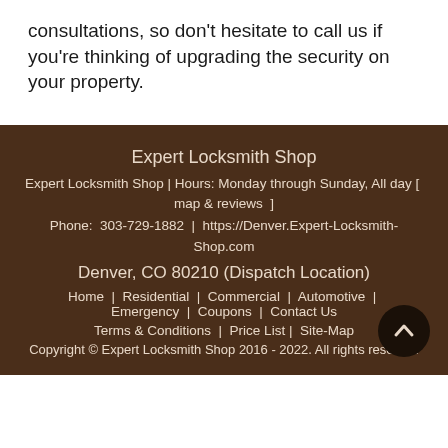consultations, so don't hesitate to call us if you're thinking of upgrading the security on your property.
Expert Locksmith Shop
Expert Locksmith Shop | Hours: Monday through Sunday, All day [ map & reviews ]
Phone: 303-729-1882 | https://Denver.Expert-Locksmith-Shop.com
Denver, CO 80210 (Dispatch Location)
Home | Residential | Commercial | Automotive | Emergency | Coupons | Contact Us
Terms & Conditions | Price List | Site-Map
Copyright © Expert Locksmith Shop 2016 - 2022. All rights reserved